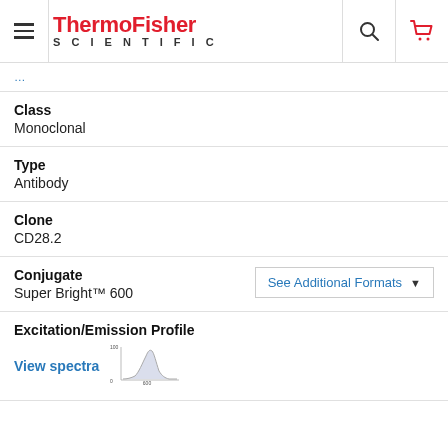ThermoFisher SCIENTIFIC
Class
Monoclonal
Type
Antibody
Clone
CD28.2
Conjugate
Super Bright™ 600
Excitation/Emission Profile
View spectra